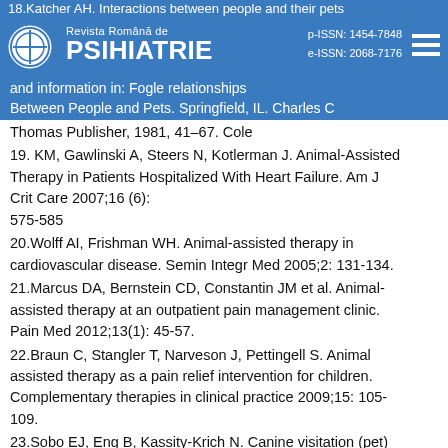Revista Română de PSIHIATRIE | p-ISSN: 1454-7848 | e-ISSN: 2068-7176
18. Katcher AH. Interactions between people and their pets: form and function. In: Fogle B, ed. Interrelationships Between People and Pets. Springfield, IL: Charles C Thomas Publisher, 1981, 41–67. Cole
19. KM, Gawlinski A, Steers N, Kotlerman J. Animal-Assisted Therapy in Patients Hospitalized With Heart Failure. Am J Crit Care 2007;16 (6): 575-585
20. Wolff AI, Frishman WH. Animal-assisted therapy in cardiovascular disease. Semin Integr Med 2005;2: 131-134.
21. Marcus DA, Bernstein CD, Constantin JM et al. Animal-assisted therapy at an outpatient pain management clinic. Pain Med 2012;13(1): 45-57.
22. Braun C, Stangler T, Narveson J, Pettingell S. Animal assisted therapy as a pain relief intervention for children. Complementary therapies in clinical practice 2009;15: 105-109.
23. Sobo EJ, Eng B, Kassity-Krich N. Canine visitation (pet) therapy. Pilot data on decreases in child pain intervention.